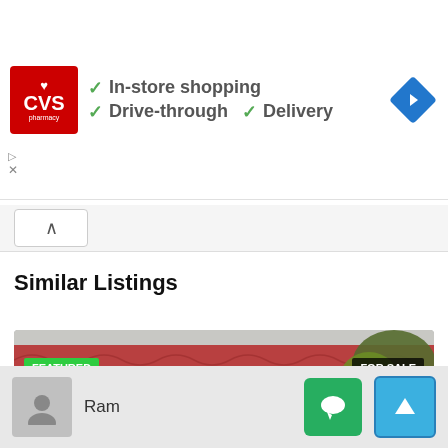[Figure (screenshot): CVS Pharmacy advertisement banner showing logo, checkmarks for In-store shopping, Drive-through, and Delivery, and a navigation arrow diamond icon]
In-store shopping
Drive-through  ✓  Delivery
Similar Listings
[Figure (photo): Photo of a house with red tiled roof, white walls, dark windows, with FEATURED badge (green) and FOR SALE badge (dark). Navigation arrows on sides and watermark text.]
Ram